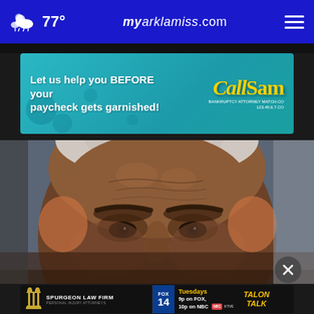77° myarklamiss.com
[Figure (infographic): CallSam advertisement banner: Let us help you BEFORE your paycheck gets garnished!]
[Figure (photo): Close-up face portrait of an elderly Black man with white hair, looking downward with a serious expression.]
[Figure (infographic): Two advertisements side by side: Spurgeon Law Firm - Personal Injury Attorneys on the left; Fox 14 Tuesdays 9p on FOX, 10p on NBC - Talon Talk on the right.]